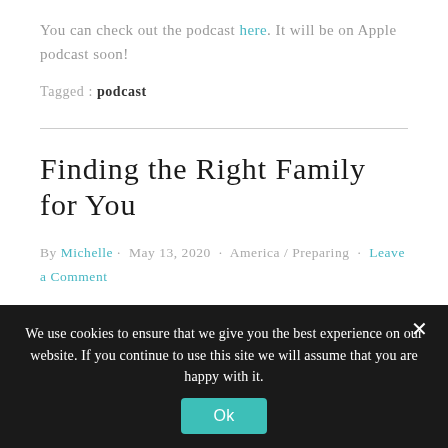You can check out the podcast here. It will be on Apple podcast soon!
Tagged : podcast
Finding the Right Family for You
By Michelle · May 13, 2020 · America / Preparing · Leave a Comment
We use cookies to ensure that we give you the best experience on our website. If you continue to use this site we will assume that you are happy with it.